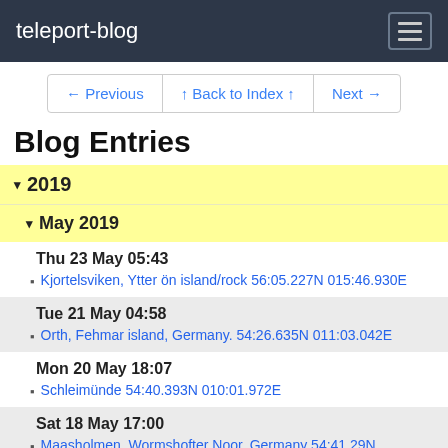teleport-blog
← Previous | ↑ Back to Index ↑ | Next →
Blog Entries
▾ 2019
▾ May 2019
Thu 23 May 05:43
Kjortelsviken, Ytter ön island/rock 56:05.227N 015:46.930E
Tue 21 May 04:58
Orth, Fehmar island, Germany. 54:26.635N 011:03.042E
Mon 20 May 18:07
Schleimünde 54:40.393N 010:01.972E
Sat 18 May 17:00
Maasholmen, Wormshofter Noor, Germany 54:41.29N 009:59.21E
Mon 13 May 23:00